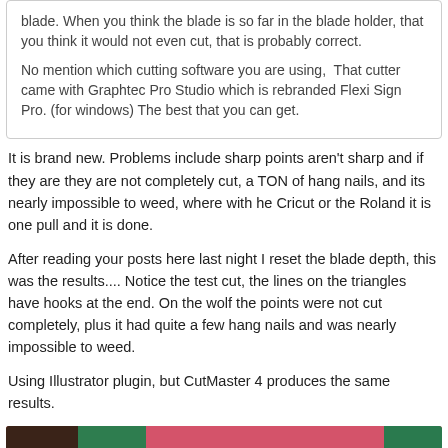blade. When you think the blade is so far in the blade holder, that you think it would not even cut, that is probably correct.

No mention which cutting software you are using,  That cutter came with Graphtec Pro Studio which is rebranded Flexi Sign Pro. (for windows) The best that you can get.
It is brand new. Problems include sharp points aren't sharp and if they are they are not completely cut, a TON of hang nails, and its nearly impossible to weed, where with he Cricut or the Roland it is one pull and it is done.
After reading your posts here last night I reset the blade depth, this was the results.... Notice the test cut, the lines on the triangles have hooks at the end. On the wolf the points were not cut completely, plus it had quite a few hang nails and was nearly impossible to weed.
Using Illustrator plugin, but CutMaster 4 produces the same results.
[Figure (photo): Partial photo showing colored material samples on a surface, with dark brown, green, pink/red, and green sections visible.]